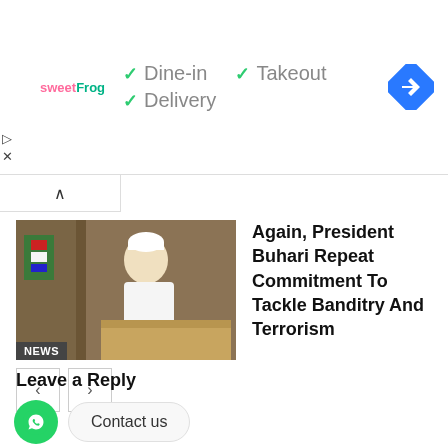[Figure (screenshot): Advertisement banner for sweetFrog restaurant showing dine-in, takeout, and delivery options with green checkmarks, and a blue navigation diamond icon]
Again, President Buhari Repeat Commitment To Tackle Banditry And Terrorism
Leave a Reply
Enter your comment here...
Contact us